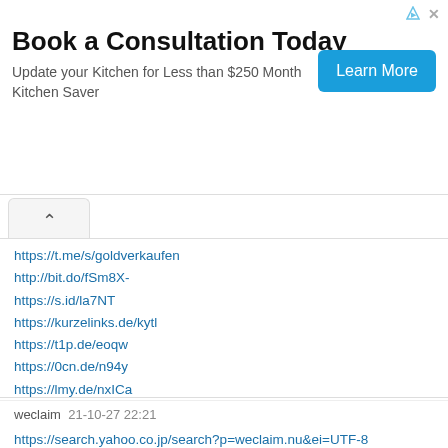[Figure (screenshot): Advertisement banner: 'Book a Consultation Today' with subtitle 'Update your Kitchen for Less than $250 Month Kitchen Saver' and a 'Learn More' blue button]
https://t.me/s/goldverkaufen
http://bit.do/fSm8X-
https://s.id/la7NT
https://kurzelinks.de/kytl
https://t1p.de/eoqw
https://0cn.de/n94y
https://lmy.de/nxICa
http://gg.gg/wbrg3
https://bit.ly/2Zl3Qw2
https://www.websiteseocheck.nl/health_check/report/89333/t.mesgoldverkaufen
https://urlscan.io/result/c9c79c0c-ad0c-47e5-8687-a8a257a6d5b5/
weclaim  21-10-27 22:21
https://search.yahoo.co.jp/search?p=weclaim.nu&ei=UTF-8
http://bit.do/fSnLe-